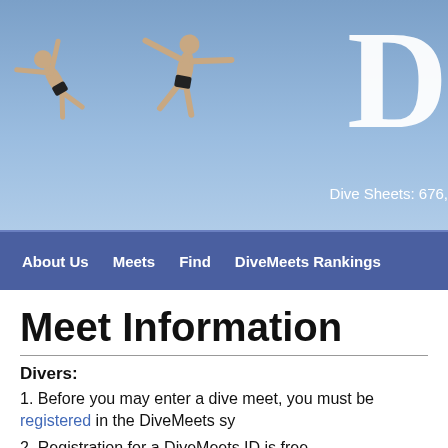[Figure (photo): Header banner with blue sky background, two divers in mid-air silhouettes on the left, large white letter D on the right, and 'Dive Sheets: 676,' text below D]
About Us   Meets   Find   DiveMeets Rankings
Meet Information
Divers:
1. Before you may enter a dive meet, you must be registered in the DiveMeets sy
2. Registration for a DiveMeets ID is free.
To sign up
Time Left Before Late Fee: Late Fe
Time Left to signup: Closed
Online Signup Closes at: 07-06-2
Name: BiG Ca
Type: Custo